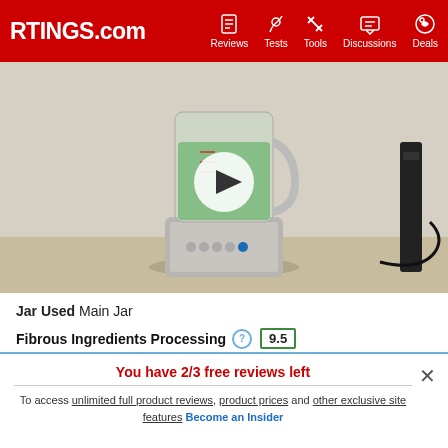RTINGS.com | Reviews | Tests | Tools | Discussions | Deals
[Figure (photo): A blender with a green smoothie in the jar on a countertop, with a play button overlay in the center. A black device is visible on the right side.]
Jar Used  Main Jar
Fibrous Ingredients Processing  9.5
Fibrous Ingredients Texture  10
You have 2/3 free reviews left
To access unlimited full product reviews, product prices and other exclusive site features Become an Insider